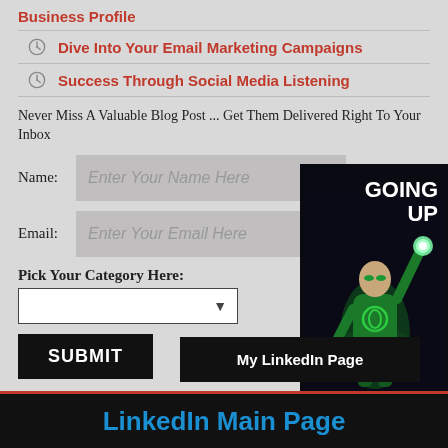Business Profile
Dive Into Your Email Marketing Campaigns
Success Through Social Media Listening
Never Miss A Valuable Blog Post ... Get Them Delivered Right To Your Inbox
Name: Enter Your Name Here
Email: Enter Your Email Here
Pick Your Category Here:
SUBMIT
[Figure (illustration): Green superhero (Green Lantern) in dark background with text GOING UP]
My LinkedIn Page
LinkedIn Main Page